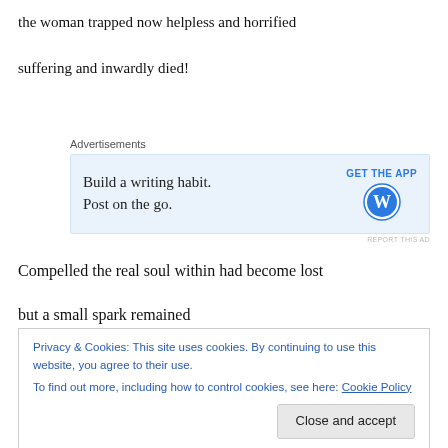the woman trapped now helpless and horrified
suffering and inwardly died!
[Figure (other): Advertisement banner: 'Build a writing habit. Post on the go.' with GET THE APP button and WordPress logo]
Compelled the real soul within had become lost
but a small spark remained
Privacy & Cookies: This site uses cookies. By continuing to use this website, you agree to their use.
To find out more, including how to control cookies, see here: Cookie Policy